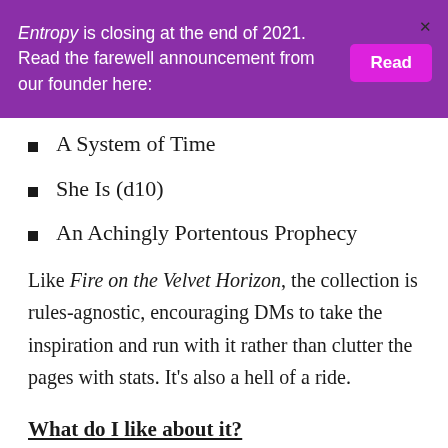Entropy is closing at the end of 2021. Read the farewell announcement from our founder here: [Read]
A System of Time
She Is (d10)
An Achingly Portentous Prophecy
Like Fire on the Velvet Horizon, the collection is rules-agnostic, encouraging DMs to take the inspiration and run with it rather than clutter the pages with stats. It's also a hell of a ride.
What do I like about it?